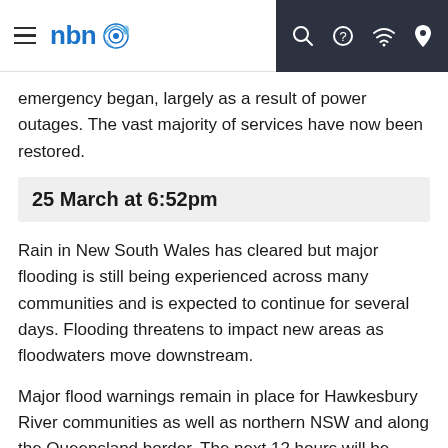nbn (logo) with navigation icons
emergency began, largely as a result of power outages. The vast majority of services have now been restored.
25 March at 6:52pm
Rain in New South Wales has cleared but major flooding is still being experienced across many communities and is expected to continue for several days. Flooding threatens to impact new areas as floodwaters move downstream.
Major flood warnings remain in place for Hawkesbury River communities as well as northern NSW and along the Queensland border. The next 12 hours will be critical to observe if further network impacts occur in these areas as the floodwaters...